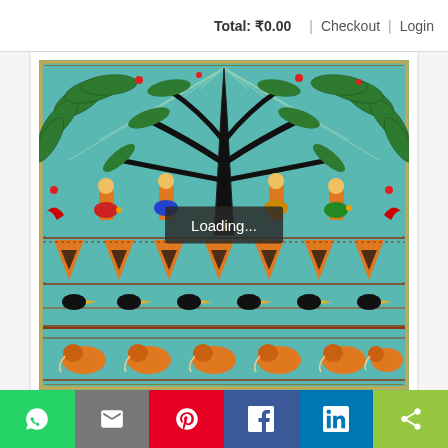Total: ₹0.00 | Checkout | Login
[Figure (photo): Madhubani folk art painting showing a large black tree with spreading branches over colorful scenes with figures, birds, and elephants on a teal background. A 'Loading...' overlay is displayed over the image.]
Loading...
[Figure (infographic): Social media share bar with six buttons: WhatsApp (green), Email (grey), Pinterest (red), Facebook (blue), LinkedIn (blue), ShareThis (green)]